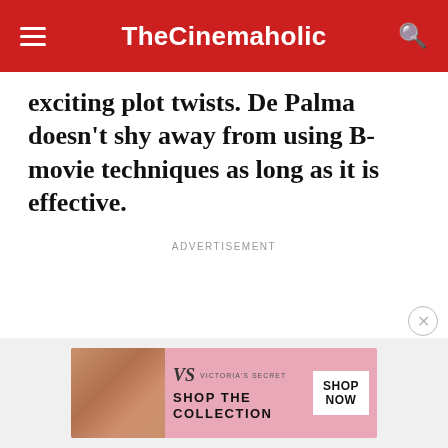TheCinemaholic
exciting plot twists. De Palma doesn't shy away from using B-movie techniques as long as it is effective.
ADVERTISEMENT
[Figure (photo): Victoria's Secret advertisement banner with a woman model, VS logo, text SHOP THE COLLECTION, and a SHOP NOW button]